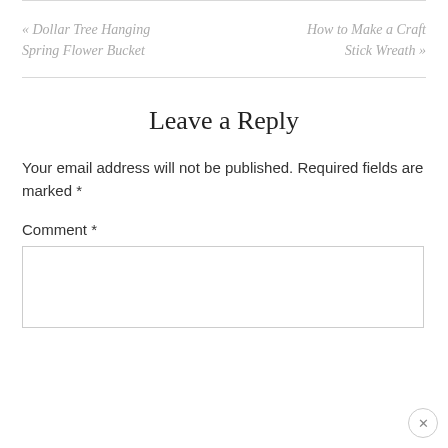« Dollar Tree Hanging Spring Flower Bucket
How to Make a Craft Stick Wreath »
Leave a Reply
Your email address will not be published. Required fields are marked *
Comment *